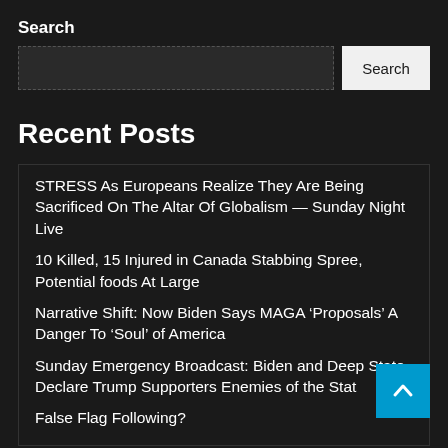Search
[Figure (other): Search input box with dashed border and Search button]
Recent Posts
STRESS As Europeans Realize They Are Being Sacrificed On The Altar Of Globalism — Sunday Night Live
10 Killed, 15 Injured in Canada Stabbing Spree, Potential foods At Large
Narrative Shift: Now Biden Says MAGA ‘Proposals’ A Danger To ‘Soul’ of America
Sunday Emergency Broadcast: Biden and Deep State Declare Trump Supporters Enemies of the State Following False Flag Following?